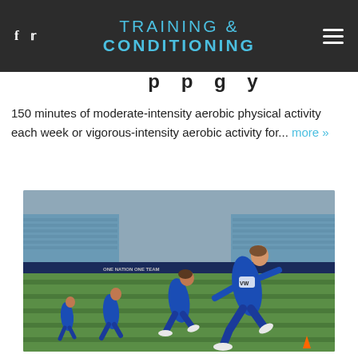TRAINING & CONDITIONING
150 minutes of moderate-intensity aerobic physical activity each week or vigorous-intensity aerobic activity for... more »
[Figure (photo): Female soccer players in blue uniforms sprinting across a green field inside a large stadium during a training session. The lead player wears a VW-sponsored jersey and white cleats. Stadium seats are visible in the background.]